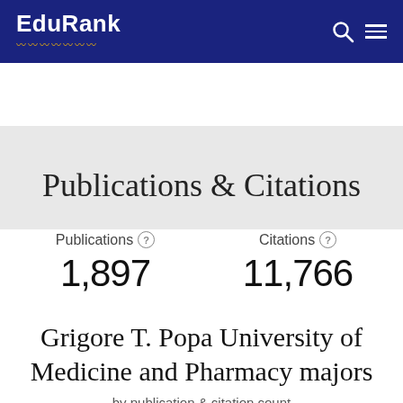EduRank
[Figure (other): Gray advertisement banner placeholder]
Publications & Citations
Publications 1,897
Citations 11,766
Grigore T. Popa University of Medicine and Pharmacy majors
by publication & citation count